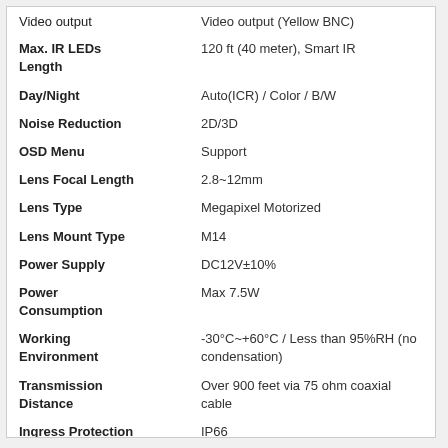| Specification | Value |
| --- | --- |
| Video output | Video output (Yellow BNC) |
| Max. IR LEDs Length | 120 ft (40 meter), Smart IR |
| Day/Night | Auto(ICR) / Color / B/W |
| Noise Reduction | 2D/3D |
| OSD Menu | Support |
| Lens Focal Length | 2.8~12mm |
| Lens Type | Megapixel Motorized |
| Lens Mount Type | M14 |
| Power Supply | DC12V±10% |
| Power Consumption | Max 7.5W |
| Working Environment | -30°C~+60°C / Less than 95%RH (no condensation) |
| Transmission Distance | Over 900 feet via 75 ohm coaxial cable |
| Ingress Protection | IP66 |
| Dimensions | 10 in x 3.14in x 3 including Bracket |
| Weight | 1.21lb (0.55kg) |
| Warranty | 2 year warranty |